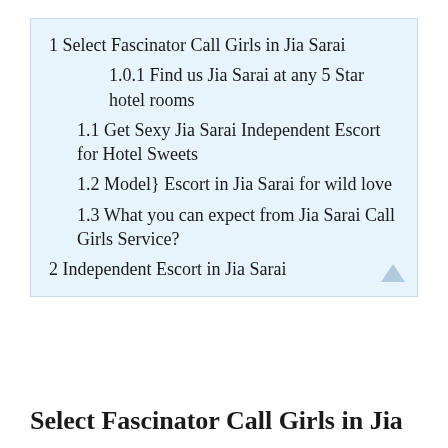1 Select Fascinator Call Girls in Jia Sarai
1.0.1 Find us Jia Sarai at any 5 Star hotel rooms
1.1 Get Sexy Jia Sarai Independent Escort for Hotel Sweets
1.2 Model} Escort in Jia Sarai for wild love
1.3 What you can expect from Jia Sarai Call Girls Service?
2 Independent Escort in Jia Sarai
Select Fascinator Call Girls in Jia